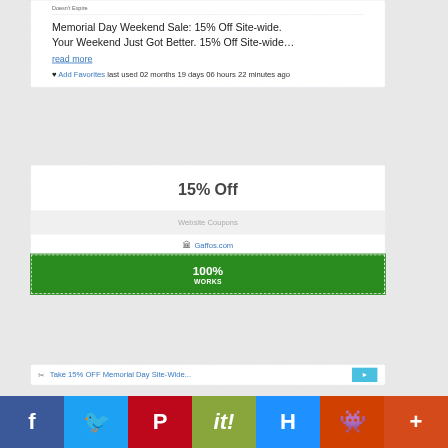Doesn't Expire
Memorial Day Weekend Sale: 15% Off Site-wide. Your Weekend Just Got Better. 15% Off Site-wide…
read more
♥ Add Favorites last used 02 months 19 days 06 hours 22 minutes ago
15% Off
Website Coupons
Gaffos.com
100% WORKS
Take 15% OFF Memorial Day Site-Wide...